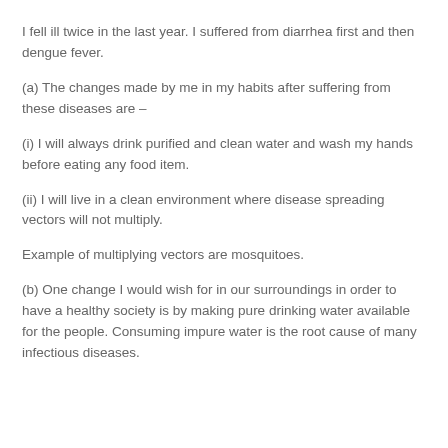I fell ill twice in the last year. I suffered from diarrhea first and then dengue fever.
(a) The changes made by me in my habits after suffering from these diseases are –
(i) I will always drink purified and clean water and wash my hands before eating any food item.
(ii) I will live in a clean environment where disease spreading vectors will not multiply.
Example of multiplying vectors are mosquitoes.
(b) One change I would wish for in our surroundings in order to have a healthy society is by making pure drinking water available for the people. Consuming impure water is the root cause of many infectious diseases.